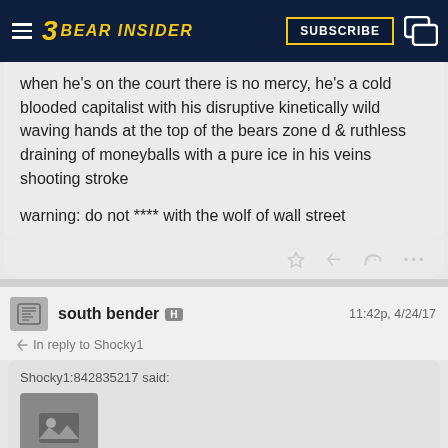Bear Insider - Subscribe
when he's on the court there is no mercy, he's a cold blooded capitalist with his disruptive kinetically wild waving hands at the top of the bears zone d & ruthless draining of moneyballs with a pure ice in his veins shooting stroke

warning: do not **** with the wolf of wall street
south bender H  11:42p, 4/24/17
In reply to Shocky1
Shocky1:842835217 said:
[Figure (photo): Image placeholder icon in quoted block]
[Figure (screenshot): YouTube embed thumbnail showing 'noisey' logo and title 'St. Lucia - Elevate (...' with play button]